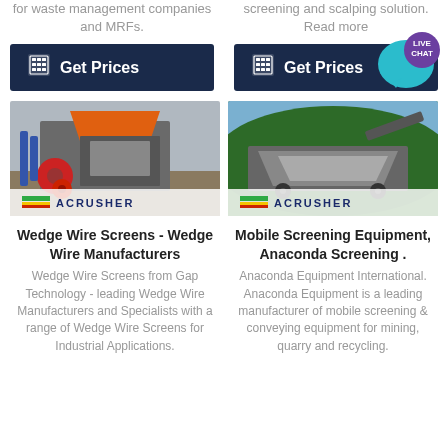for waste management companies and MRFs.
screening and scalping solution. Read more
[Figure (other): Get Prices button with calculator icon on dark navy background]
[Figure (other): Get Prices button with calculator icon on dark navy background]
[Figure (other): Live Chat bubble icon in teal and purple]
[Figure (photo): Photo of industrial jaw crusher machine (Acrusher branding) at a site with red and gray machinery]
[Figure (photo): Photo of mobile screening equipment (Acrusher branding) on a hillside with green trees]
Wedge Wire Screens - Wedge Wire Manufacturers
Mobile Screening Equipment, Anaconda Screening .
Wedge Wire Screens from Gap Technology - leading Wedge Wire Manufacturers and Specialists with a range of Wedge Wire Screens for Industrial Applications.
Anaconda Equipment International. Anaconda Equipment is a leading manufacturer of mobile screening & conveying equipment for mining, quarry and recycling.